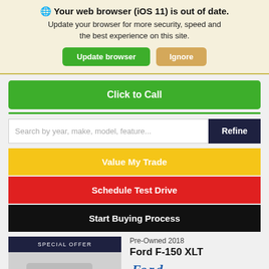🌐 Your web browser (iOS 11) is out of date.
Update your browser for more security, speed and the best experience on this site.
Update browser | Ignore
Click to Call
Search by year, make, model, feature...
Refine
Value My Trade
Schedule Test Drive
Start Buying Process
SPECIAL OFFER
Pre-Owned 2018
Ford F-150 XLT